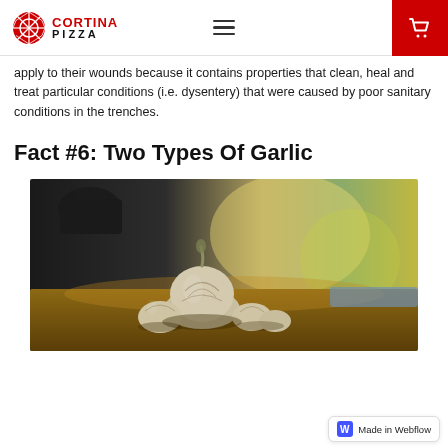Cortina Pizza
apply to their wounds because it contains properties that clean, heal and treat particular conditions (i.e. dysentery) that were caused by poor sanitary conditions in the trenches.
Fact #6: Two Types Of Garlic
[Figure (photo): Garlic bulb and cloves on a wooden surface with blurred background]
Made in Webflow